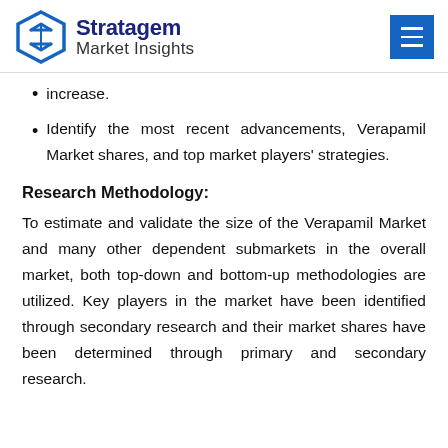Stratagem Market Insights
increase.
Identify the most recent advancements, Verapamil Market shares, and top market players' strategies.
Research Methodology:
To estimate and validate the size of the Verapamil Market and many other dependent submarkets in the overall market, both top-down and bottom-up methodologies are utilized. Key players in the market have been identified through secondary research and their market shares have been determined through primary and secondary research.